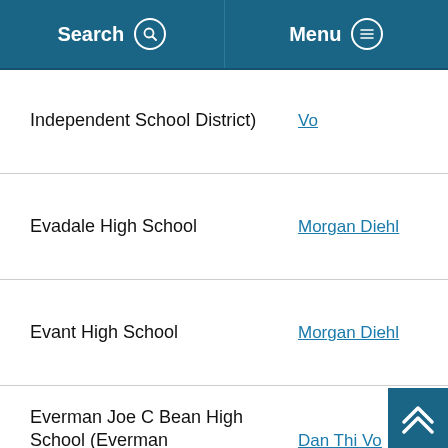Search   Menu
| School | Contact |
| --- | --- |
| Independent School District) | Vo |
| Evadale High School | Morgan Diehl |
| Evant High School | Morgan Diehl |
| Everman Joe C Bean High School (Everman Independent School District) | Dan Thi Vo |
| Evolution Academy (All campuses) | Dan Thi Vo |